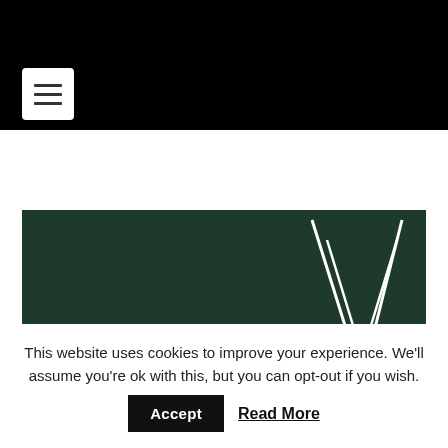[Figure (screenshot): Black navigation header bar with white hamburger menu icon button on the left]
[Figure (illustration): Dark green podcast artwork image with white geometric/triangular logo lines and semi-transparent overlay containing the text 'Podcast 232: This']
Podcast 232: This
This website uses cookies to improve your experience. We'll assume you're ok with this, but you can opt-out if you wish.
Accept
Read More